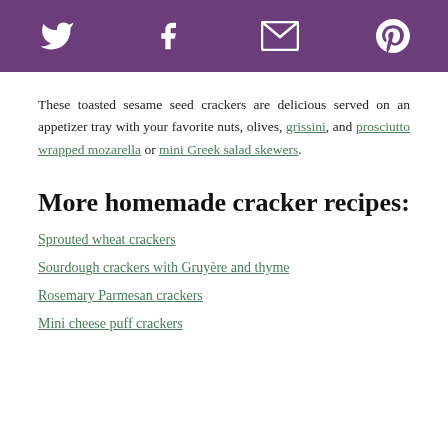[Social share icons: Twitter, Facebook, Email, Pinterest]
These toasted sesame seed crackers are delicious served on an appetizer tray with your favorite nuts, olives, grissini, and prosciutto wrapped mozarella or mini Greek salad skewers.
More homemade cracker recipes:
Sprouted wheat crackers
Sourdough crackers with Gruyère and thyme
Rosemary Parmesan crackers
Mini cheese puff crackers